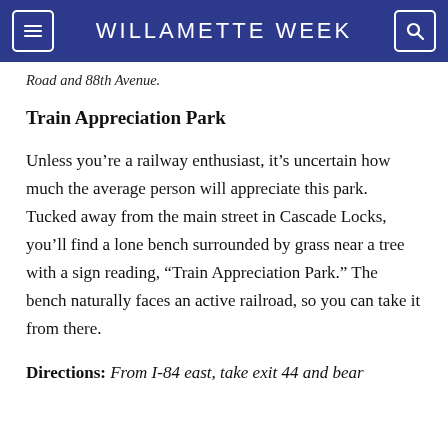WILLAMETTE WEEK
Road and 88th Avenue.
Train Appreciation Park
Unless you’re a railway enthusiast, it’s uncertain how much the average person will appreciate this park. Tucked away from the main street in Cascade Locks, you’ll find a lone bench surrounded by grass near a tree with a sign reading, “Train Appreciation Park.” The bench naturally faces an active railroad, so you can take it from there.
Directions: From I-84 east, take exit 44 and bear